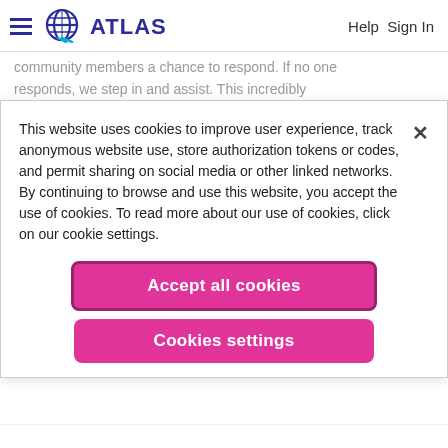ATLAS  Help Sign In
community members a chance to respond. If no one responds, we step in and assist. This incredibly useful functionality ensures no one is ever left unanswered.
CommunityPMs: Moderators can take over the PM
This website uses cookies to improve user experience, track anonymous website use, store authorization tokens or codes, and permit sharing on social media or other linked networks. By continuing to browse and use this website, you accept the use of cookies. To read more about our use of cookies, click on our cookie settings.
Accept all cookies
Cookies settings
...